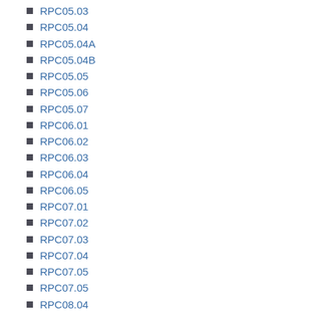RPC05.03
RPC05.04
RPC05.04A
RPC05.04B
RPC05.05
RPC05.06
RPC05.07
RPC06.01
RPC06.02
RPC06.03
RPC06.04
RPC06.05
RPC07.01
RPC07.02
RPC07.03
RPC07.04
RPC07.05
RPC07.05
RPC08.04
RPC08.05
Rules Governing Licensed Paralegal Practitioners
Rules of Professional Conduct
SupremeCourtStandingOrder07
Temporary Amendment to Bar Admission Procedures
Uncategorized
URAP001
URAP002